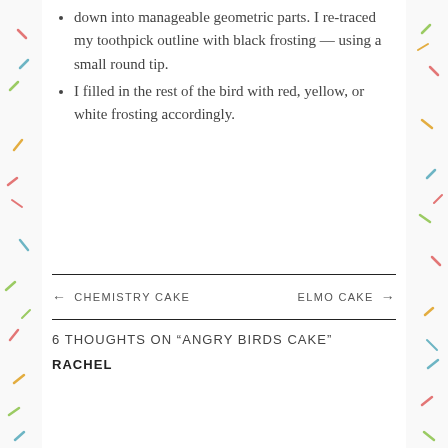down into manageable geometric parts. I re-traced my toothpick outline with black frosting — using a small round tip.
I filled in the rest of the bird with red, yellow, or white frosting accordingly.
← CHEMISTRY CAKE    ELMO CAKE →
6 THOUGHTS ON "ANGRY BIRDS CAKE"
RACHEL